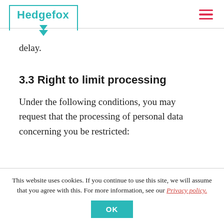Hedgefox
delay.
3.3 Right to limit processing
Under the following conditions, you may request that the processing of personal data concerning you be restricted:
This website uses cookies. If you continue to use this site, we will assume that you agree with this. For more information, see our Privacy policy.